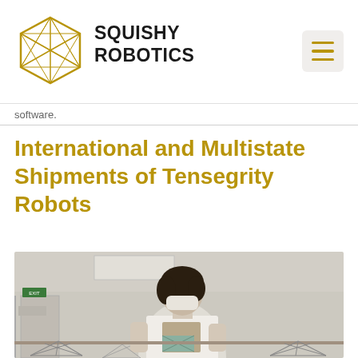SQUISHY ROBOTICS
software.
International and Multistate Shipments of Tensegrity Robots
[Figure (photo): A person wearing a face mask and white t-shirt assembles or inspects a tensegrity robot structure in an indoor lab or office setting. Several tensegrity robot structures are visible on a table in the foreground.]